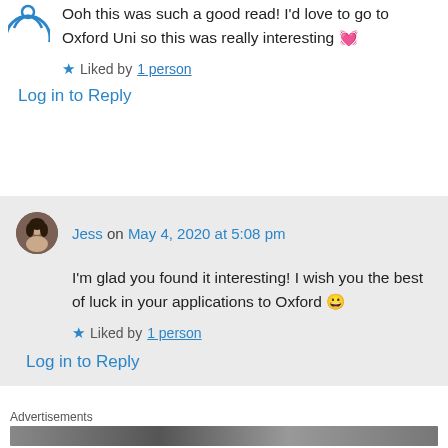[Figure (illustration): Partial avatar icon visible at top left, blue outline style]
Ooh this was such a good read! I'd love to go to Oxford Uni so this was really interesting 💓
★ Liked by 1 person
Log in to Reply
[Figure (photo): Round avatar photo of Jess, a woman]
Jess on May 4, 2020 at 5:08 pm
I'm glad you found it interesting! I wish you the best of luck in your applications to Oxford 😀
★ Liked by 1 person
Log in to Reply
Advertisements